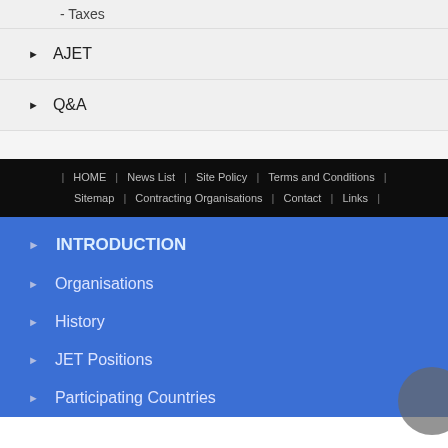- Taxes
▶ AJET
▶ Q&A
HOME | News List | Site Policy | Terms and Conditions | Sitemap | Contracting Organisations | Contact | Links
▶ INTRODUCTION
▶ Organisations
▶ History
▶ JET Positions
▶ Participating Countries